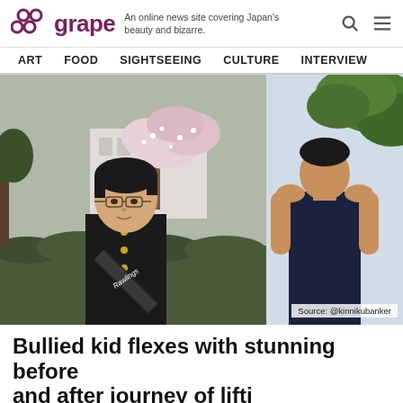grape — An online news site covering Japan's beauty and bizarre.
ART  FOOD  SIGHTSEEING  CULTURE  INTERVIEW
[Figure (photo): Two-panel photo: left panel shows a young man wearing glasses and a Japanese school uniform (gakuran) holding a Rawlings bag, standing outdoors with cherry blossom trees and hedges in the background. Right panel shows the same person later, muscular, wearing a dark sleeveless top, with green foliage visible. Source: @kinnikubanker]
Bullied kid flexes with stunning before and after journey of lifti...